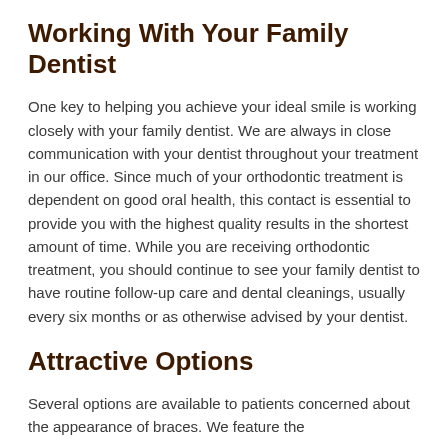Working With Your Family Dentist
One key to helping you achieve your ideal smile is working closely with your family dentist. We are always in close communication with your dentist throughout your treatment in our office. Since much of your orthodontic treatment is dependent on good oral health, this contact is essential to provide you with the highest quality results in the shortest amount of time. While you are receiving orthodontic treatment, you should continue to see your family dentist to have routine follow-up care and dental cleanings, usually every six months or as otherwise advised by your dentist.
Attractive Options
Several options are available to patients concerned about the appearance of braces. We feature the